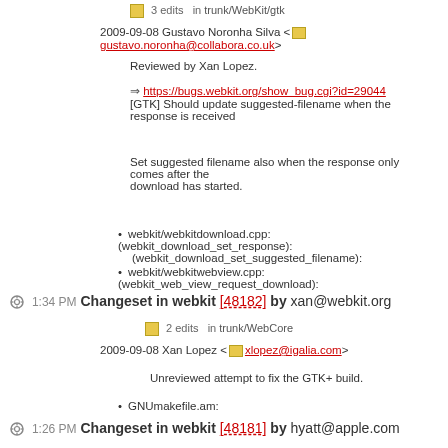3 edits in trunk/WebKit/gtk
2009-09-08 Gustavo Noronha Silva <gustavo.noronha@collabora.co.uk>
Reviewed by Xan Lopez.
https://bugs.webkit.org/show_bug.cgi?id=29044 [GTK] Should update suggested-filename when the response is received
Set suggested filename also when the response only comes after the download has started.
webkit/webkitdownload.cpp: (webkit_download_set_response): (webkit_download_set_suggested_filename):
webkit/webkitwebview.cpp: (webkit_web_view_request_download):
1:34 PM Changeset in webkit [48182] by xan@webkit.org
2 edits in trunk/WebCore
2009-09-08 Xan Lopez <xlopez@igalia.com>
Unreviewed attempt to fix the GTK+ build.
GNUmakefile.am:
1:26 PM Changeset in webkit [48181] by hyatt@apple.com
9 edits in trunk/WebCore